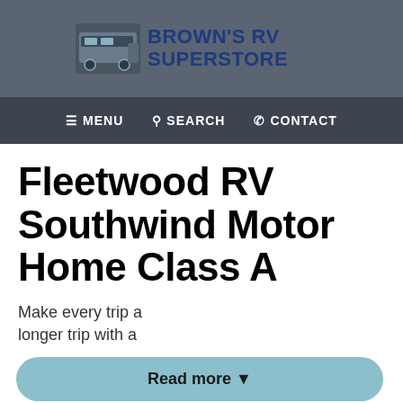[Figure (logo): Brown's RV Superstore logo with RV graphic and US map silhouette on dark grey header background]
≡ MENU   🔍 SEARCH   📞 CONTACT
Fleetwood RV Southwind Motor Home Class A
Make every trip a longer trip with a
Read more ▾
We're sorry. We were unable to find any results for this page. Please give us a call for an up to date product list